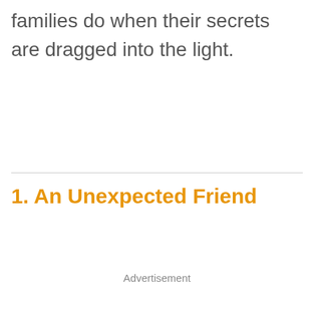families do when their secrets are dragged into the light.
1. An Unexpected Friend
Advertisement